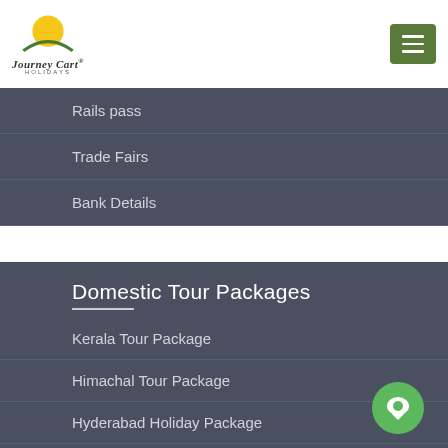[Figure (logo): Journey Cart Holidays logo with yellow sun and green arch]
Rails pass
Trade Fairs
Bank Details
Domestic Tour Packages
Kerala Tour Package
Himachal Tour Package
Hyderabad Holiday Package
Goa Holiday Package
Gujarat Holiday Package
Jammu & Kashmir Tour Package